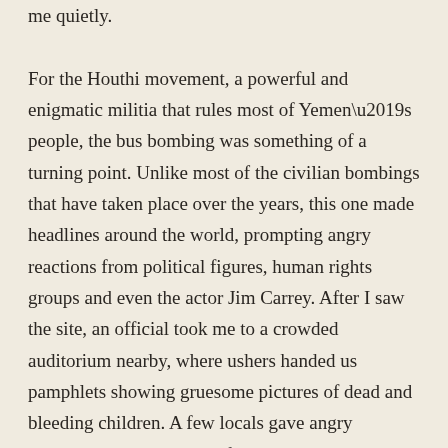me quietly.

For the Houthi movement, a powerful and enigmatic militia that rules most of Yemen's people, the bus bombing was something of a turning point. Unlike most of the civilian bombings that have taken place over the years, this one made headlines around the world, prompting angry reactions from political figures, human rights groups and even the actor Jim Carrey. After I saw the site, an official took me to a crowded auditorium nearby, where ushers handed us pamphlets showing gruesome pictures of dead and bleeding children. A few locals gave angry speeches about the evils of what Yemenis call “the aggression.” There was no mention of the ballistic missiles the Houthis have lobbed at Riyadh, or of their own war crimes. A small boy who had survived the airstrike was brought onstage, where he recited a prepared text in a high, strident